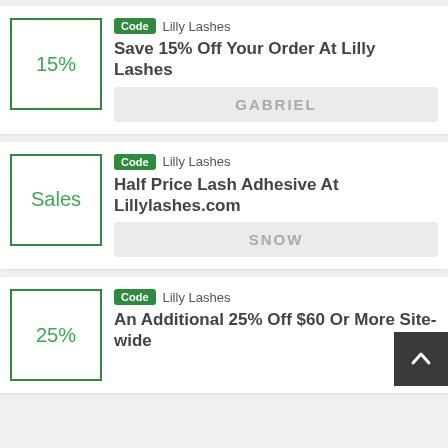[Figure (infographic): Coupon card 1: 15% off discount box with green border, Code badge, Lilly Lashes brand, title 'Save 15% Off Your Order At Lilly Lashes', coupon code GABRIEL]
[Figure (infographic): Coupon card 2: Sales tag box with green border, Code badge, Lilly Lashes brand, title 'Half Price Lash Adhesive At Lillylashes.com', coupon code SNOW]
[Figure (infographic): Coupon card 3: 25% off discount box with green border, Code badge, Lilly Lashes brand, title 'An Additional 25% Off $60 Or More Site-wide']